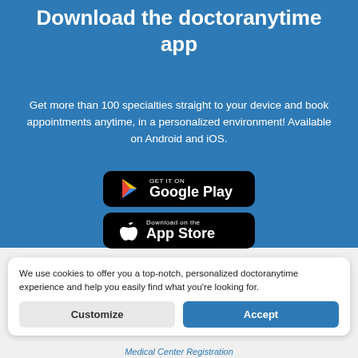Download the doctoranytime app
Get more than 100 specialties straight to your device and book appointments anytime, in a personalized environment! Available on Android and iOS.
[Figure (screenshot): Google Play store download button with Play icon]
[Figure (screenshot): Apple App Store download button with Apple logo]
We use cookies to offer you a top-notch, personalized doctoranytime experience and help you easily find what you're looking for.
Customize
Accept
Medical Center Registration